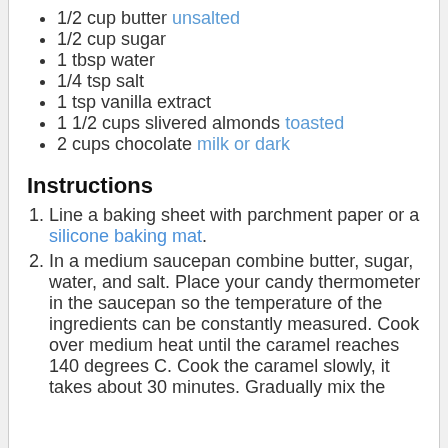1/2 cup butter unsalted
1/2 cup sugar
1 tbsp water
1/4 tsp salt
1 tsp vanilla extract
1 1/2 cups slivered almonds toasted
2 cups chocolate milk or dark
Instructions
Line a baking sheet with parchment paper or a silicone baking mat.
In a medium saucepan combine butter, sugar, water, and salt. Place your candy thermometer in the saucepan so the temperature of the ingredients can be constantly measured. Cook over medium heat until the caramel reaches 140 degrees C. Cook the caramel slowly, it takes about 30 minutes. Gradually mix the